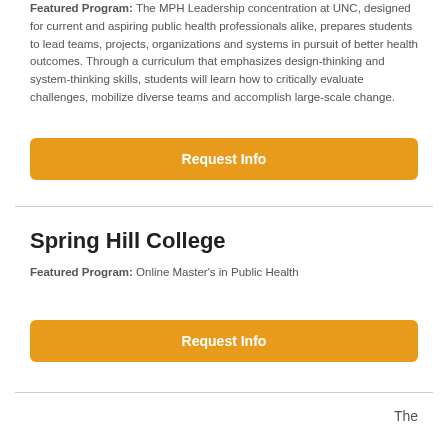Featured Program: The MPH Leadership concentration at UNC, designed for current and aspiring public health professionals alike, prepares students to lead teams, projects, organizations and systems in pursuit of better health outcomes. Through a curriculum that emphasizes design-thinking and system-thinking skills, students will learn how to critically evaluate challenges, mobilize diverse teams and accomplish large-scale change.
[Figure (other): Orange 'Request Info' button]
Spring Hill College
Featured Program: Online Master's in Public Health
[Figure (other): Orange 'Request Info' button]
The